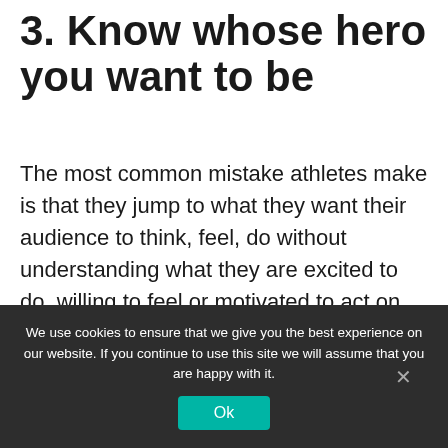3. Know whose hero you want to be
The most common mistake athletes make is that they jump to what they want their audience to think, feel, do without understanding what they are excited to do, willing to feel or motivated to act on. Knowing this will allow you to deliver words, stories and truths that will make your audience’s lives better, more meaningful, happier and richer. And that builds
We use cookies to ensure that we give you the best experience on our website. If you continue to use this site we will assume that you are happy with it.
Ok